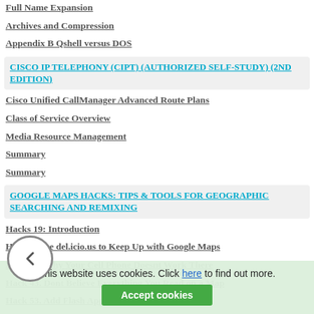Full Name Expansion
Archives and Compression
Appendix B Qshell versus DOS
CISCO IP TELEPHONY (CIPT) (AUTHORIZED SELF-STUDY) (2ND EDITION)
Cisco Unified CallManager Advanced Route Plans
Class of Service Overview
Media Resource Management
Summary
Summary
GOOGLE MAPS HACKS: TIPS & TOOLS FOR GEOGRAPHIC SEARCHING AND REMIXING
Hacks 19: Introduction
Hack 9. Use del.icio.us to Keep Up with Google Maps
Hack 33. Why Your Cell Phone Doesnt Work There
Hack 43. Dont Believe Everything You Read on a Map
Hack 53. Add Flash Applets to Your Google Maps
This website uses cookies. Click here to find out more.